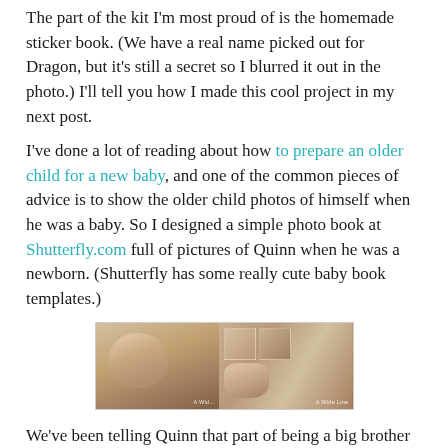The part of the kit I'm most proud of is the homemade sticker book.  (We have a real name picked out for Dragon, but it's still a secret so I blurred it out in the photo.) I'll tell you how I made this cool project in my next post.
I've done a lot of reading about how to prepare an older child for a new baby, and one of the common pieces of advice is to show the older child photos of himself when he was a baby. So I designed a simple photo book at Shutterfly.com full of pictures of Quinn when he was a newborn. (Shutterfly has some really cute baby book templates.)
[Figure (photo): Two photos of a photo book. Left photo shows the cover of the book with a baby's face. Right photo shows an open spread of the book with multiple baby photos and text layout.]
We've been telling Quinn that part of being a big brother is being his little brother's hero, and he loves that idea. So I bought him one of those personalized superhero capes that comes complete with an eye mask and wrist bands. It's the perfect Big Brother uniform. (Meg made her own superhero